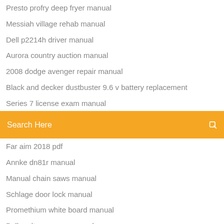Presto profry deep fryer manual
Messiah village rehab manual
Dell p2214h driver manual
Aurora country auction manual
2008 dodge avenger repair manual
Black and decker dustbuster 9.6 v battery replacement
Series 7 license exam manual
Search Here
Far aim 2018 pdf
Annke dn81r manual
Manual chain saws manual
Schlage door lock manual
Promethium white board manual
Bell realty campus manual
Swnvw guaeye cl manual
Annke dn81r manual
Casablanca fans manual
Klein tools mm1000 manual